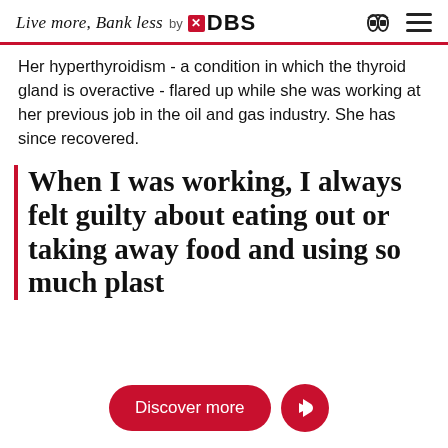Live more, Bank less by DBS
Her hyperthyroidism - a condition in which the thyroid gland is overactive - flared up while she was working at her previous job in the oil and gas industry. She has since recovered.
When I was working, I always felt guilty about eating out or taking away food and using so much plast